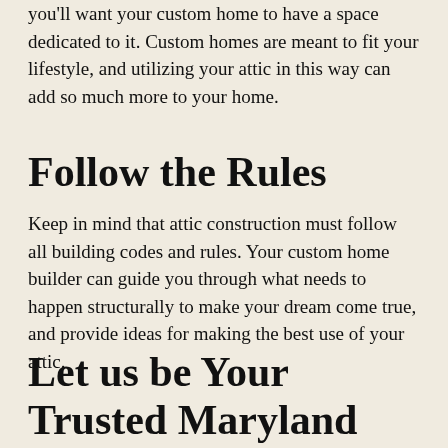you'll want your custom home to have a space dedicated to it. Custom homes are meant to fit your lifestyle, and utilizing your attic in this way can add so much more to your home.
Follow the Rules
Keep in mind that attic construction must follow all building codes and rules. Your custom home builder can guide you through what needs to happen structurally to make your dream come true, and provide ideas for making the best use of your attic.
Let us be Your Trusted Maryland Home Builder